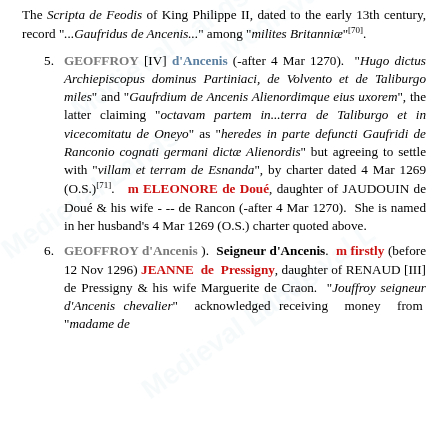The Scripta de Feodis of King Philippe II, dated to the early 13th century, record "...Gaufridus de Ancenis..." among "milites Britanniæ"[70].
5. GEOFFROY [IV] d'Ancenis (-after 4 Mar 1270). "Hugo dictus Archiepiscopus dominus Partiniaci, de Volvento et de Taliburgo miles" and "Gaufrdium de Ancenis Alienordimque eius uxorem", the latter claiming "octavam partem in...terra de Taliburgo et in vicecomitatu de Oneyo" as "heredes in parte defuncti Gaufridi de Ranconio cognati germani dictæ Alienordis" but agreeing to settle with "villam et terram de Esnanda", by charter dated 4 Mar 1269 (O.S.)[71]. m ELEONORE de Doué, daughter of JAUDOUIN de Doué & his wife --- de Rancon (-after 4 Mar 1270). She is named in her husband's 4 Mar 1269 (O.S.) charter quoted above.
6. GEOFFROY d'Ancenis ). Seigneur d'Ancenis. m firstly (before 12 Nov 1296) JEANNE de Pressigny, daughter of RENAUD [III] de Pressigny & his wife Marguerite de Craon. "Jouffroy seigneur d'Ancenis chevalier" acknowledged receiving money from "madame de...